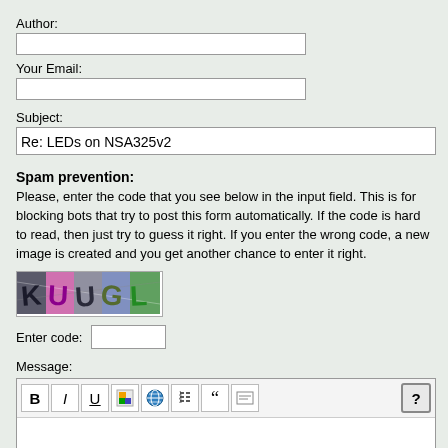Author:
Your Email:
Subject:
Re: LEDs on NSA325v2
Spam prevention:
Please, enter the code that you see below in the input field. This is for blocking bots that try to post this form automatically. If the code is hard to read, then just try to guess it right. If you enter the wrong code, a new image is created and you get another chance to enter it right.
[Figure (other): CAPTCHA image showing colored letters KUUGL on a mixed colorful background]
Enter code:
Message: